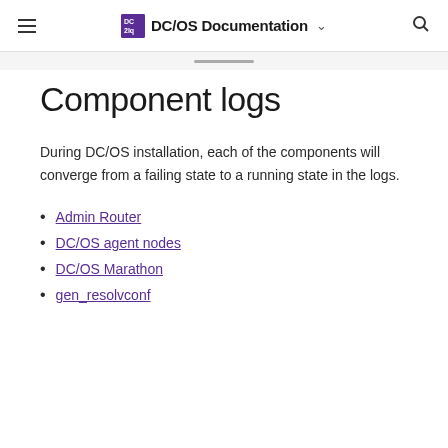DC/OS Documentation
Component logs
During DC/OS installation, each of the components will converge from a failing state to a running state in the logs.
Admin Router
DC/OS agent nodes
DC/OS Marathon
gen_resolvconf